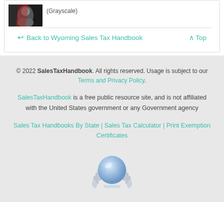[Figure (photo): Small thumbnail image of a person (grayscale) with label '(Grayscale)' to the right]
Back to Wyoming Sales Tax Handbook
^ Top
© 2022 SalesTaxHandbook. All rights reserved. Usage is subject to our Terms and Privacy Policy.

SalesTaxHandbook is a free public resource site, and is not affiliated with the United States government or any Government agency

Sales Tax Handbooks By State | Sales Tax Calculator | Print Exemption Certificates
[Figure (illustration): Globe with laurel wreath badge icon in silver/blue tones]